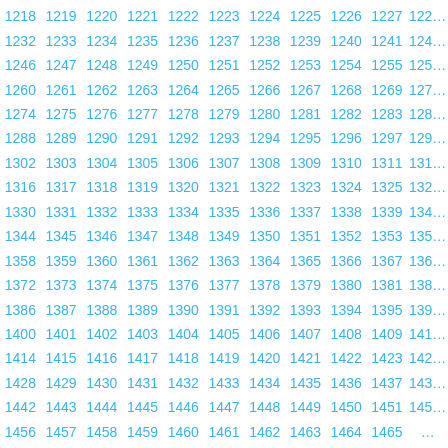Grid of sequential numbers from 1218 to 1465+, displayed in rows of 11, in blue color. Numbers increase by 1 left to right, rows of 14 per sequence jump.